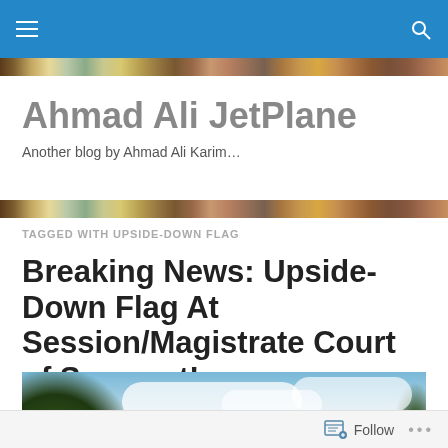Ahmad Ali JetPlane — Another blog by Ahmad Ali Karim…
TAGGED WITH UPSIDE-DOWN FLAG
Breaking News: Upside-Down Flag At Session/Magistrate Court of Segamat!
[Figure (photo): Outdoor photo showing sky with clouds and trees in the foreground]
Follow